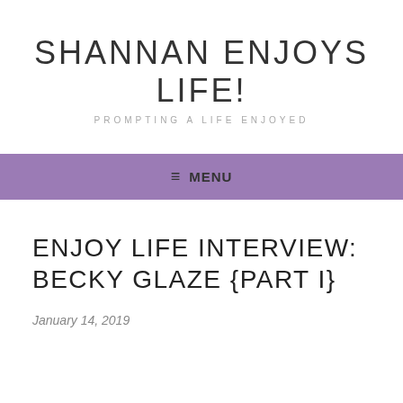SHANNAN ENJOYS LIFE!
PROMPTING A LIFE ENJOYED
≡ MENU
ENJOY LIFE INTERVIEW: BECKY GLAZE {PART 1}
January 14, 2019